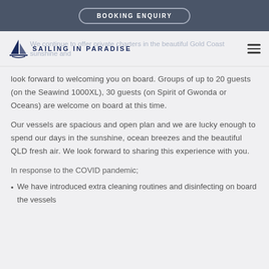BOOKING ENQUIRY
[Figure (logo): Sailing in Paradise logo with sailboat icon and text SAILING IN PARADISE]
We continue to offer private charters in the beautiful Gold Coast sunshine and look forward to welcoming you on board. Groups of up to 20 guests (on the Seawind 1000XL), 30 guests (on Spirit of Gwonda or Oceans) are welcome on board at this time.
Our vessels are spacious and open plan and we are lucky enough to spend our days in the sunshine, ocean breezes and the beautiful QLD fresh air. We look forward to sharing this experience with you.
In response to the COVID pandemic;
We have introduced extra cleaning routines and disinfecting on board the vessels